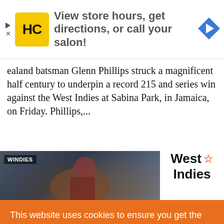[Figure (infographic): HC salon advertisement banner with yellow HC logo, text 'View store hours, get directions, or call your salon!' and a blue navigation arrow icon on the right]
ealand batsman Glenn Phillips struck a magnificent half century to underpin a record 215 and series win against the West Indies at Sabina Park, in Jamaica, on Friday. Phillips,...
[Figure (photo): Cricket player photo with WINDIES label overlay, partially visible batsman in maroon uniform]
West Indies
This website uses cookies to ensure you get the best experience on our website. Cookie policy Privacy policy
Decline
Allow cookies